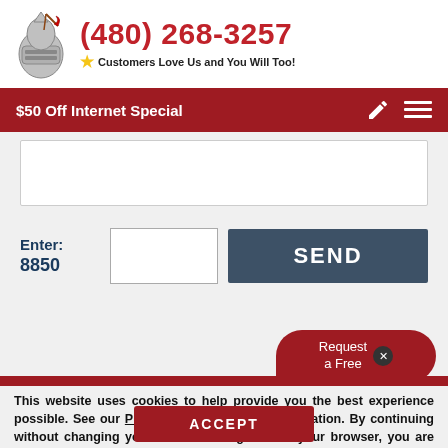[Figure (logo): Knight helmet logo with quill pen]
(480) 268-3257
★ Customers Love Us and You Will Too!
$50 Off Internet Special
Enter: 8850
SEND
Request a Free
This website uses cookies to help provide you the best experience possible. See our Privacy Policy for more information. By continuing without changing your cookie settings within your browser, you are agreeing to our use of cookies.
ACCEPT